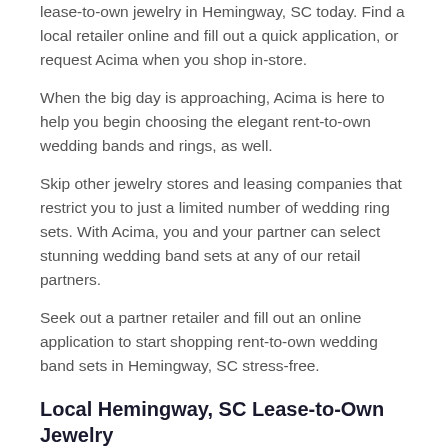lease-to-own jewelry in Hemingway, SC today. Find a local retailer online and fill out a quick application, or request Acima when you shop in-store.
When the big day is approaching, Acima is here to help you begin choosing the elegant rent-to-own wedding bands and rings, as well.
Skip other jewelry stores and leasing companies that restrict you to just a limited number of wedding ring sets. With Acima, you and your partner can select stunning wedding band sets at any of our retail partners.
Seek out a partner retailer and fill out an online application to start shopping rent-to-own wedding band sets in Hemingway, SC stress-free.
Local Hemingway, SC Lease-to-Own Jewelry
While Hemingway has other jewelry leasing companies and jewelry stores that offer rental plans, the vast majority demand spotless credit history. Not to mention, it might feel